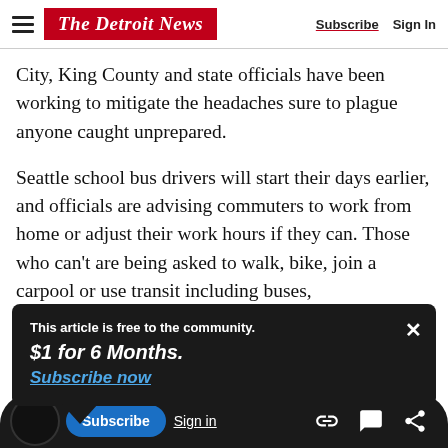The Detroit News | Subscribe | Sign In
City, King County and state officials have been working to mitigate the headaches sure to plague anyone caught unprepared.
Seattle school bus drivers will start their days earlier, and officials are advising commuters to work from home or adjust their work hours if they can. Those who can't are being asked to walk, bike, join a carpool or use transit including buses,
This article is free to the community.
$1 for 6 Months.
Subscribe now
Subscribe | Sign in